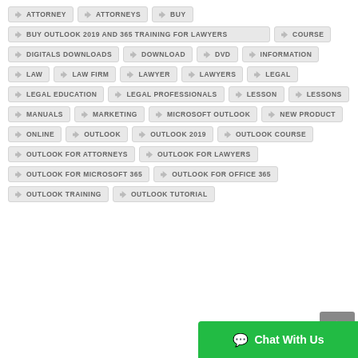ATTORNEY
ATTORNEYS
BUY
BUY OUTLOOK 2019 AND 365 TRAINING FOR LAWYERS
COURSE
DIGITALS DOWNLOADS
DOWNLOAD
DVD
INFORMATION
LAW
LAW FIRM
LAWYER
LAWYERS
LEGAL
LEGAL EDUCATION
LEGAL PROFESSIONALS
LESSON
LESSONS
MANUALS
MARKETING
MICROSOFT OUTLOOK
NEW PRODUCT
ONLINE
OUTLOOK
OUTLOOK 2019
OUTLOOK COURSE
OUTLOOK FOR ATTORNEYS
OUTLOOK FOR LAWYERS
OUTLOOK FOR MICROSOFT 365
OUTLOOK FOR OFFICE 365
OUTLOOK TRAINING
OUTLOOK TUTORIAL